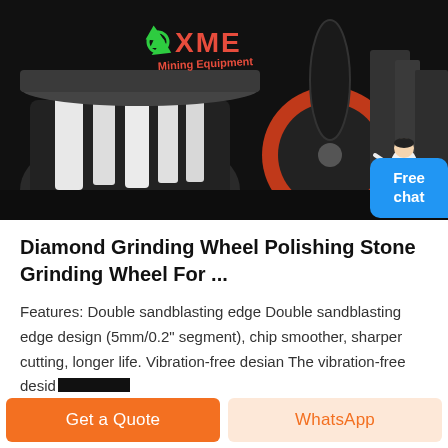[Figure (photo): Dark industrial setting showing heavy machinery (cone crushers/grinding equipment) with XME Mining Equipment logo (green recycling symbol and red XME text) overlaid on the image. A customer service representative figure is visible in the bottom right corner of the image.]
Diamond Grinding Wheel Polishing Stone Grinding Wheel For ...
Features: Double sandblasting edge Double sandblasting edge design (5mm/0.2" segment), chip smoother, sharper cutting, longer life. Vibration-free desian The vibration-free desid [redacted]
Get a Quote
WhatsApp